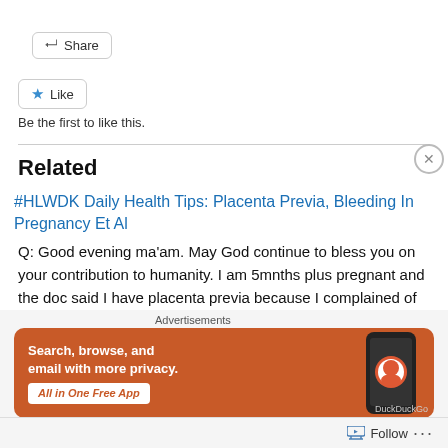Share
Like
Be the first to like this.
Related
#HLWDK Daily Health Tips: Placenta Previa, Bleeding In Pregnancy Et Al
Q: Good evening ma'am. May God continue to bless you on your contribution to humanity. I am 5mnths plus pregnant and the doc said I have placenta previa because I complained of vaginal bleeding so I was asked to do a scan. He also said I am likely to give
Advertisements
[Figure (screenshot): DuckDuckGo ad banner: 'Search, browse, and email with more privacy. All in One Free App' on orange background with phone image showing DuckDuckGo app]
Follow